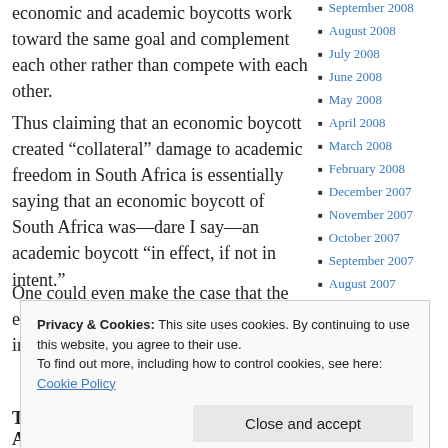economic and academic boycotts work toward the same goal and complement each other rather than compete with each other.
Thus claiming that an economic boycott created “collateral” damage to academic freedom in South Africa is essentially saying that an economic boycott of South Africa was—dare I say—an academic boycott “in effect, if not in intent.”
One could even make the case that the economic boycott of South Africa—including
September 2008
August 2008
July 2008
June 2008
May 2008
April 2008
March 2008
February 2008
December 2007
November 2007
October 2007
September 2007
August 2007
Privacy & Cookies: This site uses cookies. By continuing to use this website, you agree to their use.
To find out more, including how to control cookies, see here: Cookie Policy
Close and accept
The AAUP’s resolutions on South Africa: too
February 2007